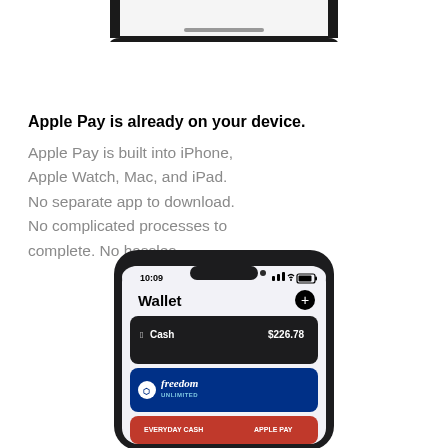[Figure (screenshot): Top portion of an iPhone showing the bottom edge of a phone screen, partially cropped at top of page]
Apple Pay is already on your device. Apple Pay is built into iPhone, Apple Watch, Mac, and iPad. No separate app to download. No complicated processes to complete. No hassles.
[Figure (screenshot): iPhone showing the Apple Wallet app with Apple Cash card showing $226.78 balance and a Chase Freedom Unlimited card below it]